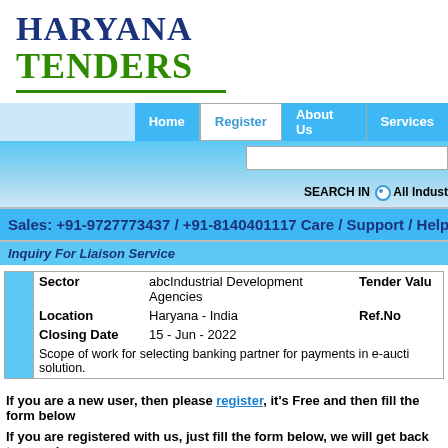HARYANA TENDERS
Home | Register | About Us | Services
SEARCH IN All Industries
Sales: +91-9727773437 / +91-8140401117 Care / Support / Help / C
Inquiry For Liaison Service
|  | Field | Value | Right Field | Right Value |
| --- | --- | --- | --- | --- |
|  | Sector | abcIndustrial Development Agencies | Tender Value |  |
|  | Location | Haryana - India | Ref.No |  |
|  | Closing Date | 15 - Jun - 2022 |  |  |
|  | Scope of work for selecting banking partner for payments in e-auctio solution. |  |  |  |
If you are a new user, then please register, it's Free and then fill the form below
If you are registered with us, just fill the form below, we will get back to you si